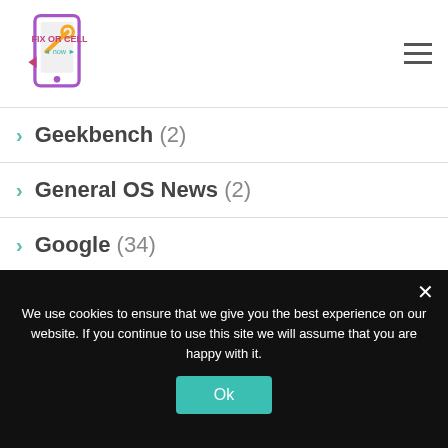Fix or Cell Now — navigation header with logo
Geekbench (2)
General OS News (2)
Google (34)
Google Assistant (1)
Google Nest (1)
Google Pixel 3 (2)
Google Pixel 3 XL (1)
We use cookies to ensure that we give you the best experience on our website. If you continue to use this site we will assume that you are happy with it.